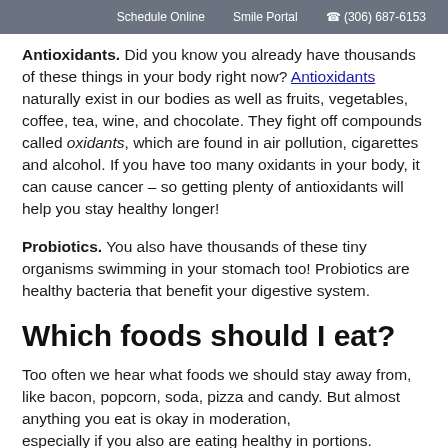Schedule Online   Smile Portal   (306) 687-6153
Antioxidants. Did you know you already have thousands of these things in your body right now? Antioxidants naturally exist in our bodies as well as fruits, vegetables, coffee, tea, wine, and chocolate. They fight off compounds called oxidants, which are found in air pollution, cigarettes and alcohol. If you have too many oxidants in your body, it can cause cancer – so getting plenty of antioxidants will help you stay healthy longer!
Probiotics. You also have thousands of these tiny organisms swimming in your stomach too! Probiotics are healthy bacteria that benefit your digestive system.
Which foods should I eat?
Too often we hear what foods we should stay away from, like bacon, popcorn, soda, pizza and candy. But almost anything you eat is okay in moderation, especially if you also are eating healthy in portions.